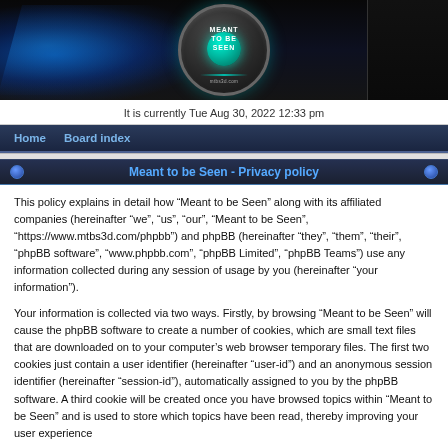[Figure (logo): Meant to be Seen website header banner with blue glowing light rays on dark background and a circular logo badge with teal center and text 'MEANT TO BE SEEN' and 'mtbs3d.com']
It is currently Tue Aug 30, 2022 12:33 pm
Home   Board index
Meant to be Seen - Privacy policy
This policy explains in detail how “Meant to be Seen” along with its affiliated companies (hereinafter “we”, “us”, “our”, “Meant to be Seen”, “https://www.mtbs3d.com/phpbb”) and phpBB (hereinafter “they”, “them”, “their”, “phpBB software”, “www.phpbb.com”, “phpBB Limited”, “phpBB Teams”) use any information collected during any session of usage by you (hereinafter “your information”).
Your information is collected via two ways. Firstly, by browsing “Meant to be Seen” will cause the phpBB software to create a number of cookies, which are small text files that are downloaded on to your computer’s web browser temporary files. The first two cookies just contain a user identifier (hereinafter “user-id”) and an anonymous session identifier (hereinafter “session-id”), automatically assigned to you by the phpBB software. A third cookie will be created once you have browsed topics within “Meant to be Seen” and is used to store which topics have been read, thereby improving your user experience.